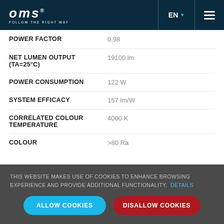OMS FOLLOW THE RIGHT WAY | EN | Menu
| Property | Value |
| --- | --- |
| POWER FACTOR | 0,98 |
| NET LUMEN OUTPUT (TA=25°C) | 19100 lm |
| POWER CONSUMPTION | 122 W |
| SYSTEM EFFICACY | 157 lm/W |
| CORRELATED COLOUR TEMPERATURE | 4000 K |
| COLOUR | >80 Ra |
THIS WEBSITE MAKES USE OF COOKIES TO ENHANCE BROWSING EXPERIENCE AND PROVIDE ADDITIONAL FUNCTIONALITY. DETAILS
ALLOW COOKIES | DISALLOW COOKIES